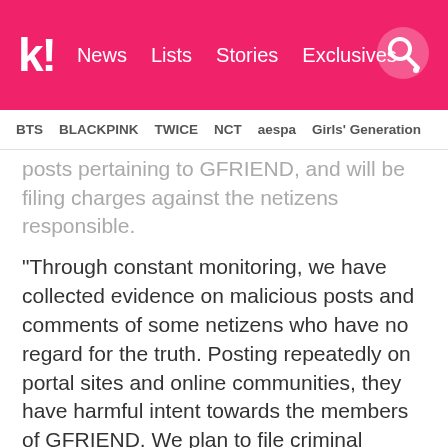k! News Lists Stories Exclusives
BTS BLACKPINK TWICE NCT aespa Girls' Generation
posts pertaining to GFRIEND, and will be filing charges against the netizens responsible.
“Through constant monitoring, we have collected evidence on malicious posts and comments of some netizens who have no regard for the truth. Posting repeatedly on portal sites and online communities, they have harmful intent towards the members of GFRIEND. We plan to file criminal complaints with law firm Gamwoo as our legal representative.” — Source Music